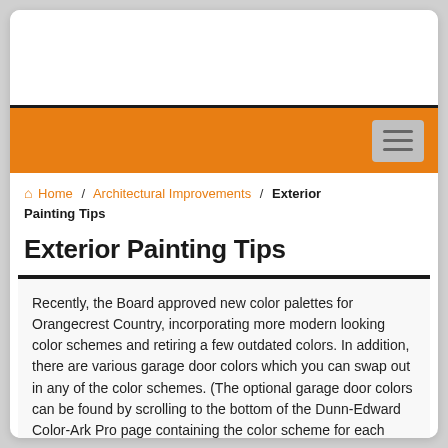[Advertisement banner area]
Home / Architectural Improvements / Exterior Painting Tips
Exterior Painting Tips
Recently, the Board approved new color palettes for Orangecrest Country, incorporating more modern looking color schemes and retiring a few outdated colors. In addition, there are various garage door colors which you can swap out in any of the color schemes. (The optional garage door colors can be found by scrolling to the bottom of the Dunn-Edward Color-Ark Pro page containing the color scheme for each community as